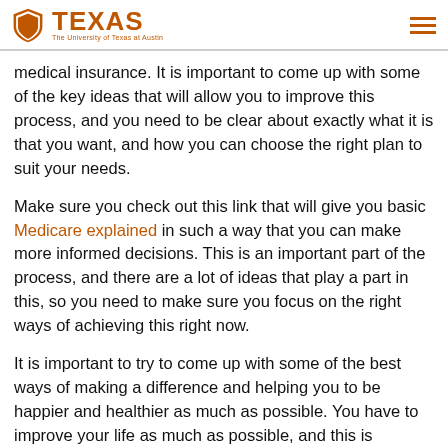TEXAS — The University of Texas at Austin
medical insurance. It is important to come up with some of the key ideas that will allow you to improve this process, and you need to be clear about exactly what it is that you want, and how you can choose the right plan to suit your needs.
Make sure you check out this link that will give you basic Medicare explained in such a way that you can make more informed decisions. This is an important part of the process, and there are a lot of ideas that play a part in this, so you need to make sure you focus on the right ways of achieving this right now.
It is important to try to come up with some of the best ways of making a difference and helping you to be happier and healthier as much as possible. You have to improve your life as much as possible, and this is something that you can use to really help you improve and boost the way you choose to live. It is essential to